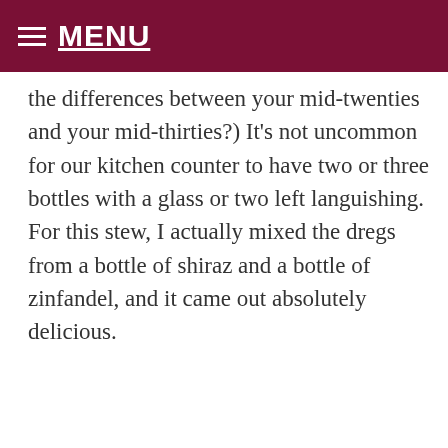≡ MENU
the differences between your mid-twenties and your mid-thirties?) It's not uncommon for our kitchen counter to have two or three bottles with a glass or two left languishing. For this stew, I actually mixed the dregs from a bottle of shiraz and a bottle of zinfandel, and it came out absolutely delicious.